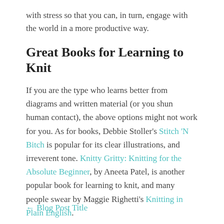with stress so that you can, in turn, engage with the world in a more productive way.
Great Books for Learning to Knit
If you are the type who learns better from diagrams and written material (or you shun human contact), the above options might not work for you. As for books, Debbie Stoller's Stitch 'N Bitch is popular for its clear illustrations, and irreverent tone. Knitty Gritty: Knitting for the Absolute Beginner, by Aneeta Patel, is another popular book for learning to knit, and many people swear by Maggie Righetti's Knitting in Plain English.
← Blog Post Title